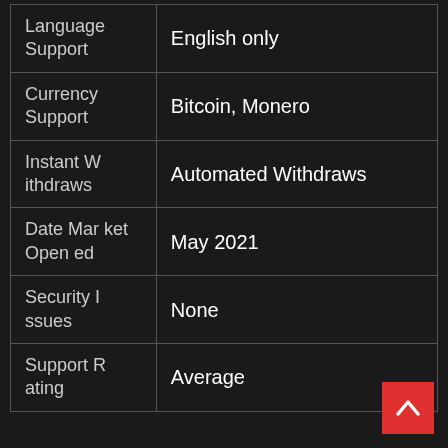| Feature | Value |
| --- | --- |
| Language Support | English only |
| Currency Support | Bitcoin, Monero |
| Instant Withdraws | Automated Withdraws |
| Date Market Opened | May 2021 |
| Security Issues | None |
| Support Rating | Average |